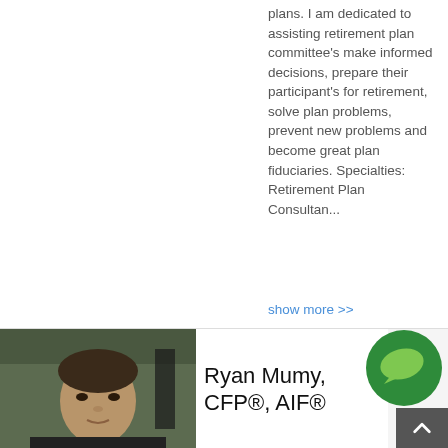plans. I am dedicated to assisting retirement plan committee's make informed decisions, prepare their participant's for retirement, solve plan problems, prevent new problems and become great plan fiduciaries. Specialties: Retirement Plan Consultan...
show more >>
[Figure (photo): Headshot photo of Ryan Mumy, a man with dark hair, against a dark background]
Ryan Mumy, CFP®, AIF®